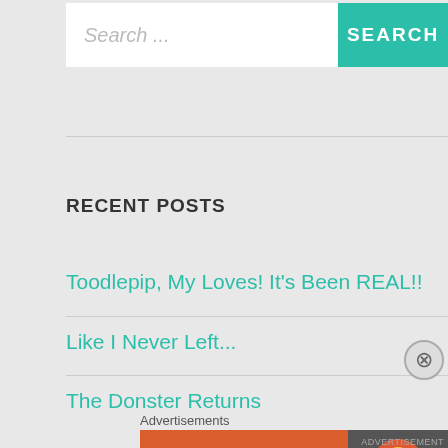Search ...
SEARCH
RECENT POSTS
Toodlepip, My Loves! It's Been REAL!!
Like I Never Left...
The Donster Returns
On Non-Awesome Mothers (of the Repatriated Expat)
Advertisements
[Figure (screenshot): DuckDuckGo advertisement banner: orange left side with text 'Search, browse, and email with more privacy. All in One Free App' and dark right side with DuckDuckGo duck logo and brand name.]